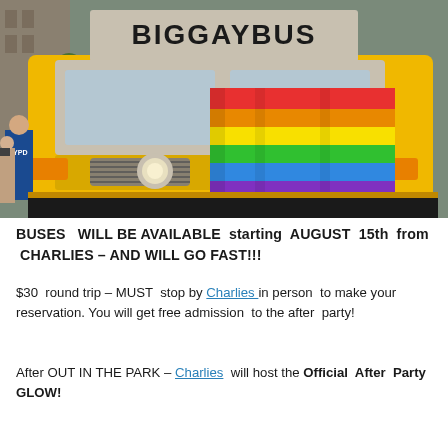[Figure (photo): A yellow school bus decorated with a rainbow pride flag on its front grille, with 'BIGGAYBUS' written on the windshield. An NYPD officer and other people are visible on the left side. The bus is parked on a city street.]
BUSES  WILL BE AVAILABLE  starting  AUGUST  15th  from  CHARLIES – AND WILL GO FAST!!!
$30  round trip – MUST  stop by Charlies in person  to make your reservation. You will get free admission  to the after  party!
After OUT IN THE PARK – Charlies  will host the Official After Party GLOW!